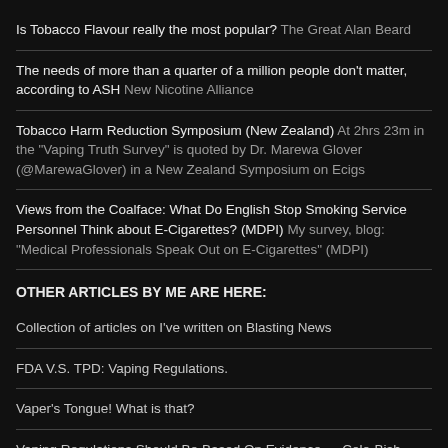Is Tobacco Flavour really the most popular? The Great Alan Beard
The needs of more than a quarter of a million people don't matter, according to ASH New Nicotine Alliance
Tobacco Harm Reduction Symposium (New Zealand) At 2hrs 23m in the "Vaping Truth Survey" is quoted by Dr. Marewa Glover (@MarewaGlover) in a New Zealand Symposium on Ecigs
Views from the Coalface: What Do English Stop Smoking Service Personnel Think about E-Cigarettes? (MDPI) My survey, blog: "Medical Professionals Speak Out on E-Cigarettes" (MDPI)
OTHER ARTICLES BY ME ARE HERE:
Collection of articles on I've written on Blasting News
FDA V.S. TPD: Vaping Regulations.
Vaper's Tongue! What is that?
Vaping Regulations Should Be Based On Evidence — Cole-Bishop...